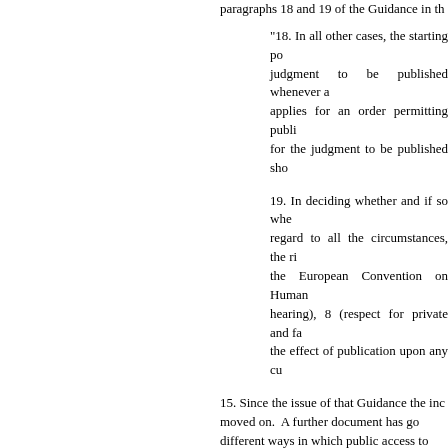paragraphs 18 and 19 of the Guidance in th
"18. In all other cases, the starting po judgment to be published whenever a applies for an order permitting publi for the judgment to be published sho
19. In deciding whether and if so whe regard to all the circumstances, the ri the European Convention on Human hearing), 8 (respect for private and fa the effect of publication upon any cu
15. Since the issue of that Guidance the inc moved on. A further document has go different ways in which public access to obtained.
16. The second stage, the stage that is discussion and concern amongst professio consequence of the consultation process Advocacy Service ("NYAS") and the commissioned research from a well kno Brophy, who has published a report enti Children and Young People & The Next S Brophy research"). That research was pub
17. NYAS were informed by the mother i they approached the court for permission